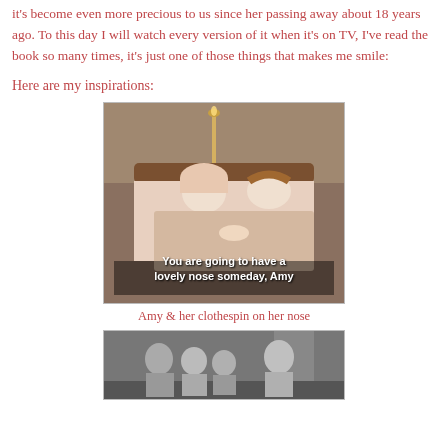it's become even more precious to us since her passing away about 18 years ago. To this day I will watch every version of it when it's on TV, I've read the book so many times, it's just one of those things that makes me smile:
Here are my inspirations:
[Figure (photo): Screenshot from a film showing two women lying in bed, one wearing a bonnet, with subtitle text: 'You are going to have a lovely nose someday, Amy']
Amy & her clothespin on her nose
[Figure (photo): Black and white screenshot from a film showing several people standing in a room]